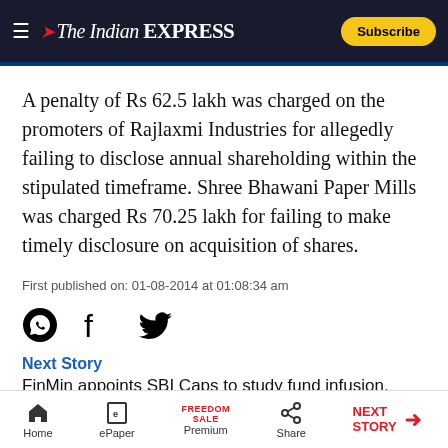The Indian EXPRESS — Subscribe
A penalty of Rs 62.5 lakh was charged on the promoters of Rajlaxmi Industries for allegedly failing to disclose annual shareholding within the stipulated timeframe. Shree Bhawani Paper Mills was charged Rs 70.25 lakh for failing to make timely disclosure on acquisition of shares.
First published on: 01-08-2014 at 01:08:34 am
[Figure (infographic): Social sharing icons: WhatsApp, Facebook, Twitter]
Next Story
FinMin appoints SBI Caps to study fund infusion, bank
Home | ePaper | Premium | Share | NEXT STORY